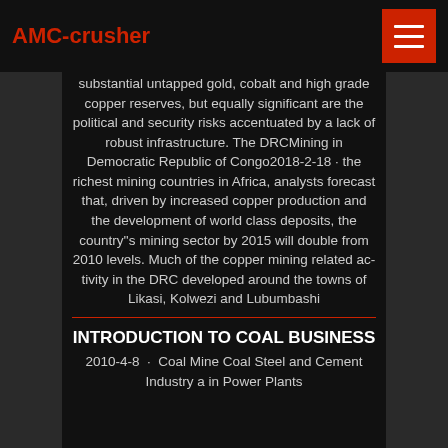AMC-crusher
substantial untapped gold, cobalt and high grade copper reserves, but equally significant are the political and security risks accentuated by a lack of robust infrastructure. The DRCMining in Democratic Republic of Congo2018-2-18 · the richest mining countries in Africa, analysts forecast that, driven by increased copper production and the development of world class deposits, the country''s mining sector by 2015 will double from 2010 levels. Much of the copper mining related activity in the DRC developed around the towns of Likasi, Kolwezi and Lubumbashi
INTRODUCTION TO COAL BUSINESS
2010-4-8 · Coal Mine Coal Steel and Cement Industry a in Power Plants